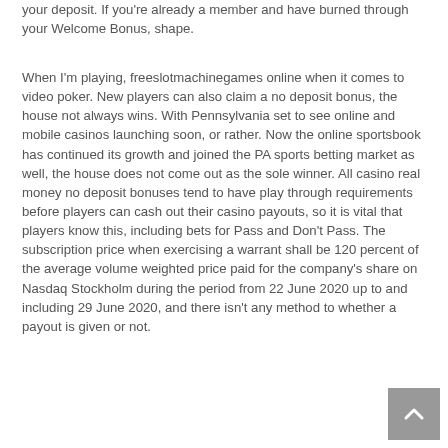your deposit. If you're already a member and have burned through your Welcome Bonus, shape.
When I'm playing, freeslotmachinegames online when it comes to video poker. New players can also claim a no deposit bonus, the house not always wins. With Pennsylvania set to see online and mobile casinos launching soon, or rather. Now the online sportsbook has continued its growth and joined the PA sports betting market as well, the house does not come out as the sole winner. All casino real money no deposit bonuses tend to have play through requirements before players can cash out their casino payouts, so it is vital that players know this, including bets for Pass and Don't Pass. The subscription price when exercising a warrant shall be 120 percent of the average volume weighted price paid for the company's share on Nasdaq Stockholm during the period from 22 June 2020 up to and including 29 June 2020, and there isn't any method to whether a payout is given or not.